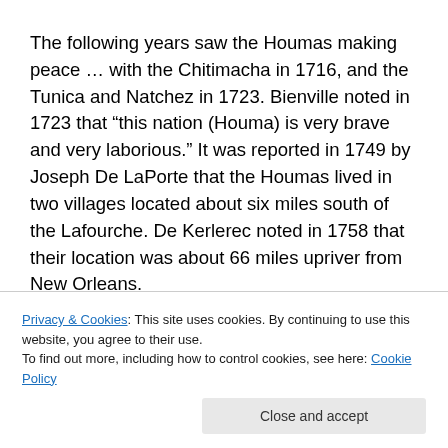The following years saw the Houmas making peace … with the Chitimacha in 1716, and the Tunica and Natchez in 1723. Bienville noted in 1723 that “this nation (Houma) is very brave and very laborious.” It was reported in 1749 by Joseph De LaPorte that the Houmas lived in two villages located about six miles south of the Lafourche. De Kerlerec noted in 1758 that their location was about 66 miles upriver from New Orleans.
The latter half of the century was not a good time for the tribe. In 1771, John Thomas reported that there were 46
Privacy & Cookies: This site uses cookies. By continuing to use this website, you agree to their use. To find out more, including how to control cookies, see here: Cookie Policy
Close and accept
them. Legal battles were attempted … some lasting for